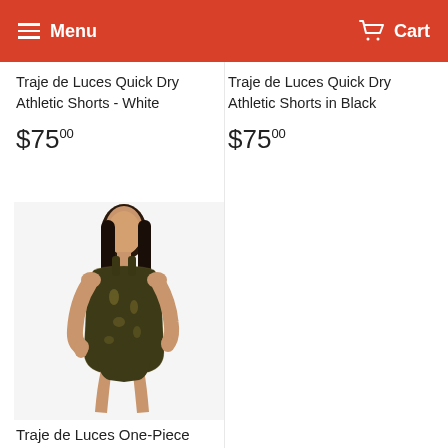Menu  Cart
Traje de Luces Quick Dry Athletic Shorts - White
$75.00
Traje de Luces Quick Dry Athletic Shorts in Black
$75.00
[Figure (photo): Woman wearing a dark patterned one-piece swimsuit, standing pose]
Traje de Luces One-Piece Swimsuit in Black